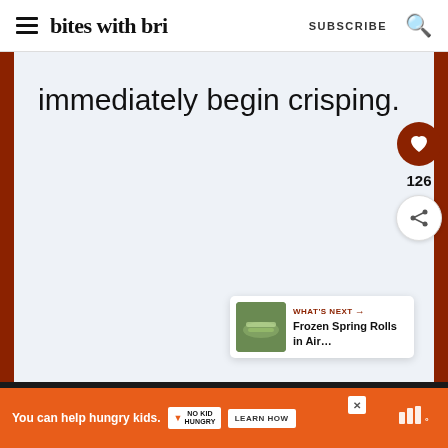bites with bri — SUBSCRIBE
immediately begin crisping.
[Figure (infographic): Heart/like button with count 126 and share button on right sidebar]
[Figure (infographic): What's Next panel showing Frozen Spring Rolls in Air... with thumbnail]
[Figure (infographic): Orange advertisement bar: You can help hungry kids. No Kid Hungry. LEARN HOW button.]